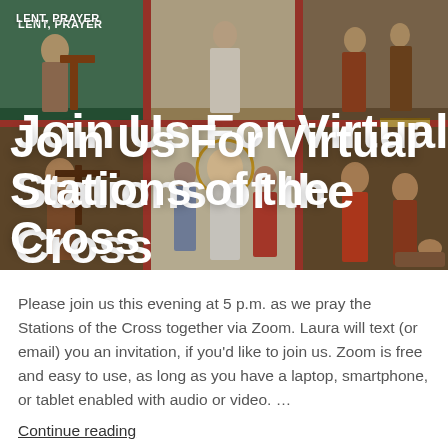LENT, PRAYER
Join Us For Virtual Stations of the Cross
[Figure (photo): Religious painting depicting Stations of the Cross scenes, with multiple panels showing figures in biblical settings, warm earthy tones with red borders]
Please join us this evening at 5 p.m. as we pray the Stations of the Cross together via Zoom. Laura will text (or email) you an invitation, if you'd like to join us. Zoom is free and easy to use, as long as you have a laptop, smartphone, or tablet enabled with audio or video. …
Continue reading
27 Mar 2020    Leave a comment